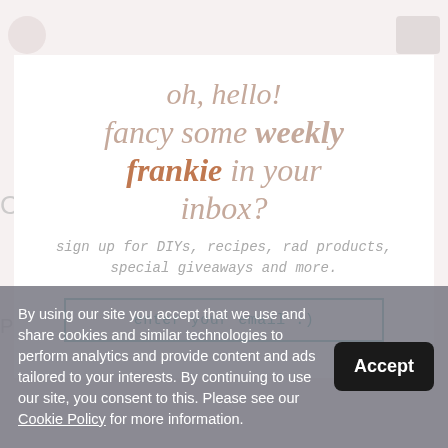oh, hello! fancy some weekly frankie in your inbox?
sign up for DIYs, recipes, rad products, special giveaways and more.
enter your email :)
By using our site you accept that we use and share cookies and similar technologies to perform analytics and provide content and ads tailored to your interests. By continuing to use our site, you consent to this. Please see our Cookie Policy for more information.